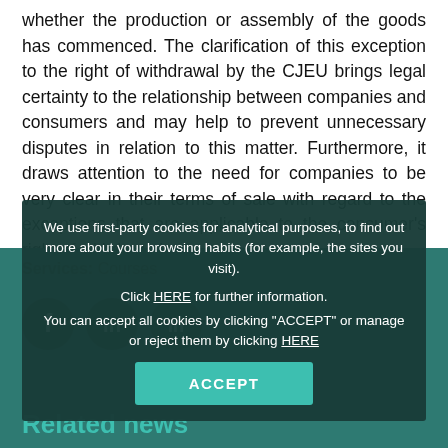whether the production or assembly of the goods has commenced. The clarification of this exception to the right of withdrawal by the CJEU brings legal certainty to the relationship between companies and consumers and may help to prevent unnecessary disputes in relation to this matter. Furthermore, it draws attention to the need for companies to be very clear in their terms of sale with regard to the exceptions that are applicable to the consumer's right of withdrawal.
Services: Courses
[Figure (other): Social media icons: Facebook, LinkedIn, and one other platform shown as dark circular buttons]
[Figure (other): Cookie consent modal overlay on dark teal background. Text: We use first-party cookies for analytical purposes, to find out more about your browsing habits (for example, the sites you visit). Click HERE for further information. You can accept all cookies by clicking ACCEPT or manage or reject them by clicking HERE. Accept button shown.]
Related news